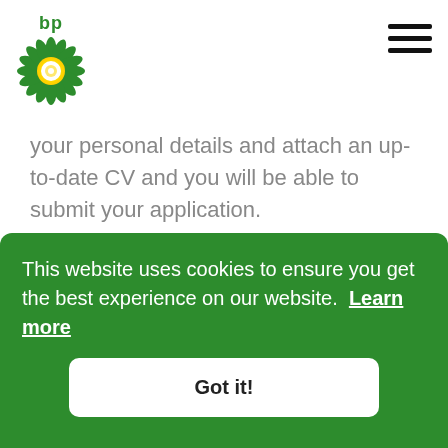[Figure (logo): BP logo: green sunflower/flower symbol with white center, with 'bp' text in green above it]
your personal details and attach an up-to-date CV and you will be able to submit your application.
Apply Now
[Figure (map): Street map background showing road intersections, partially visible]
This website uses cookies to ensure you get the best experience on our website. Learn more
Got it!